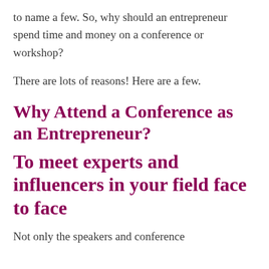to name a few. So, why should an entrepreneur spend time and money on a conference or workshop?
There are lots of reasons! Here are a few.
Why Attend a Conference as an Entrepreneur?
To meet experts and influencers in your field face to face
Not only the speakers and conference